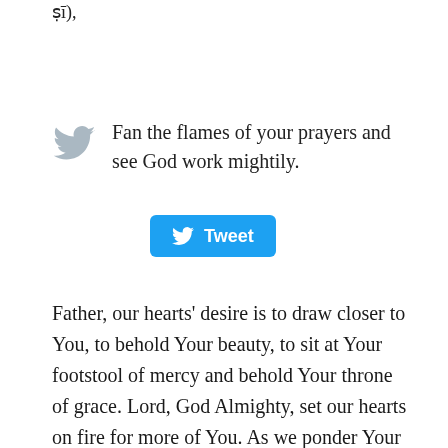ṣī),
Fan the flames of your prayers and see God work mightily.
[Figure (screenshot): A blue Twitter Tweet button with white Twitter bird icon and the word 'Tweet']
Father, our hearts' desire is to draw closer to You, to behold Your beauty, to sit at Your footstool of mercy and behold Your throne of grace. Lord, God Almighty, set our hearts on fire for more of You. As we ponder Your goodness, righteousness, mercy, and grace, our hearts' desires are kindled. May this summer be the